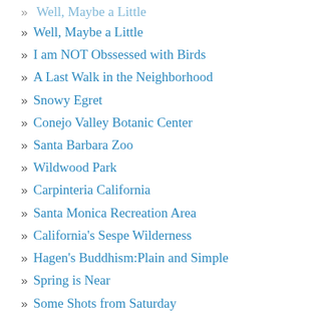» Well, Maybe a Little
» I am NOT Obssessed with Birds
» A Last Walk in the Neighborhood
» Snowy Egret
» Conejo Valley Botanic Center
» Santa Barbara Zoo
» Wildwood Park
» Carpinteria California
» Santa Monica Recreation Area
» California's Sespe Wilderness
» Hagen's Buddhism:Plain and Simple
» Spring is Near
» Some Shots from Saturday
» Spring Cleaning
» Oooops, There Goes the Site
» Spring, With a Promise of Weeds